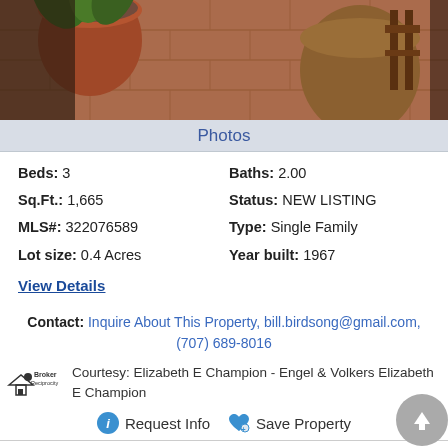[Figure (photo): Exterior photo of a property showing a tiled patio with terracotta pots of plants and wooden furniture]
Photos
Beds: 3   Baths: 2.00
Sq.Ft.: 1,665   Status: NEW LISTING
MLS#: 322076589   Type: Single Family
Lot size: 0.4 Acres   Year built: 1967
View Details
Contact: Inquire About This Property, bill.birdsong@gmail.com, (707) 689-8016
Courtesy: Elizabeth E Champion - Engel & Volkers Elizabeth E Champion
Request Info   Save Property
View additional info
$519,000 2879 La Homa Court Napa, CA 94558